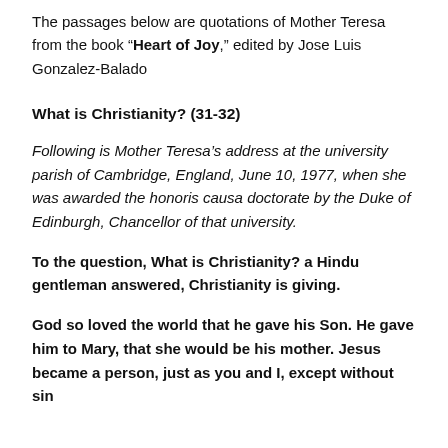The passages below are quotations of Mother Teresa from the book “Heart of Joy,” edited by Jose Luis Gonzalez-Balado
What is Christianity? (31-32)
Following is Mother Teresa’s address at the university parish of Cambridge, England, June 10, 1977, when she was awarded the honoris causa doctorate by the Duke of Edinburgh, Chancellor of that university.
To the question, What is Christianity? a Hindu gentleman answered, Christianity is giving.
God so loved the world that he gave his Son. He gave him to Mary, that she would be his mother. Jesus became a person, just as you and I, except without sin